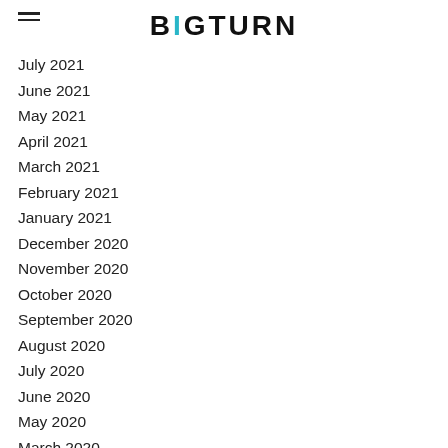BIGTURN
July 2021
June 2021
May 2021
April 2021
March 2021
February 2021
January 2021
December 2020
November 2020
October 2020
September 2020
August 2020
July 2020
June 2020
May 2020
March 2020